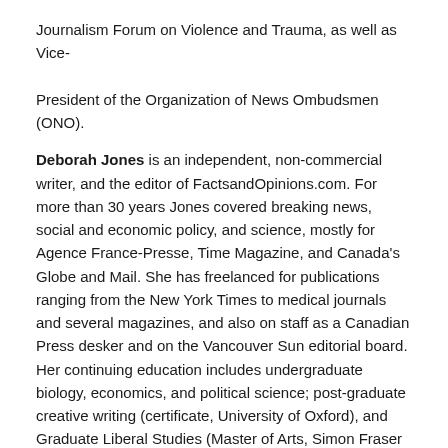Journalism Forum on Violence and Trauma, as well as Vice-President of the Organization of News Ombudsmen (ONO).
Deborah Jones is an independent, non-commercial writer, and the editor of FactsandOpinions.com. For more than 30 years Jones covered breaking news, social and economic policy, and science, mostly for Agence France-Presse, Time Magazine, and Canada's Globe and Mail. She has freelanced for publications ranging from the New York Times to medical journals and several magazines, and also on staff as a Canadian Press desker and on the Vancouver Sun editorial board. Her continuing education includes undergraduate biology, economics, and political science; post-graduate creative writing (certificate, University of Oxford), and Graduate Liberal Studies (Master of Arts, Simon Fraser University, where she serves on the GLS steering committee). Professional and academic interests focus on civility, freedom of thought and expression, and ecology. She contends that public relations, and media business models reliant on advertising, are antithetical to journalism.
Jones's journalism advocacy includes membership from 1979 in the Centre for Investigative Journalism (later Canadian Association of Journalists), where she has been a regular member of the